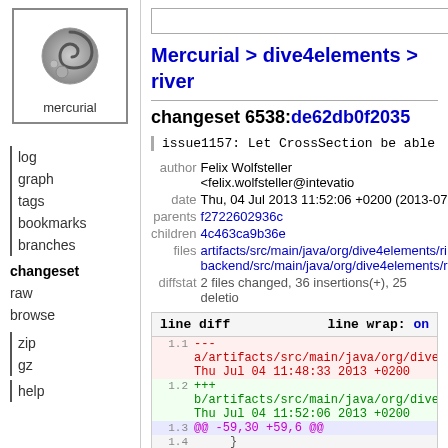[Figure (logo): Mercurial logo - grey yin-yang style symbol with 'mercurial' text below]
log
graph
tags
bookmarks
branches
changeset (active)
raw
browse
zip
gz
help
Mercurial > dive4elements > river
changeset 6538:de62db0f2035
issue1157: Let CrossSection be able to fin
| label | value |
| --- | --- |
| author | Felix Wolfsteller <felix.wolfsteller@intevatio |
| date | Thu, 04 Jul 2013 11:52:06 +0200 (2013-07 |
| parents | f2722602936c |
| children | 4c463ca9b36e |
| files | artifacts/src/main/java/org/dive4elements/ri
backend/src/main/java/org/dive4elements/r |
| diffstat | 2 files changed, 36 insertions(+), 25 deletio |
line diff   line wrap: on
1.1  ---
a/artifacts/src/main/java/org/dive4
Thu Jul 04 11:48:33 2013 +0200
1.2  +++
b/artifacts/src/main/java/org/dive4
Thu Jul 04 11:52:06 2013 +0200
1.3  @@ -59,30 +59,6 @@
1.4      }